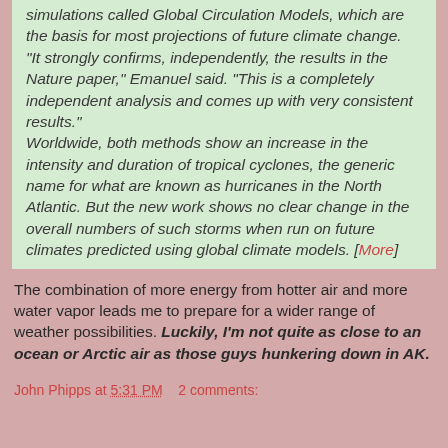simulations called Global Circulation Models, which are the basis for most projections of future climate change. "It strongly confirms, independently, the results in the Nature paper," Emanuel said. "This is a completely independent analysis and comes up with very consistent results." Worldwide, both methods show an increase in the intensity and duration of tropical cyclones, the generic name for what are known as hurricanes in the North Atlantic. But the new work shows no clear change in the overall numbers of such storms when run on future climates predicted using global climate models. [More]
The combination of more energy from hotter air and more water vapor leads me to prepare for a wider range of weather possibilities. Luckily, I'm not quite as close to an ocean or Arctic air as those guys hunkering down in AK.
John Phipps at 5:31 PM    2 comments: